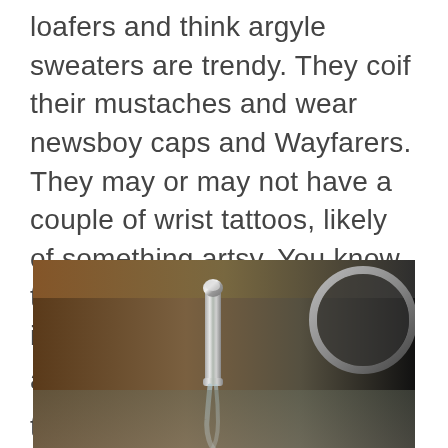loafers and think argyle sweaters are trendy. They coif their mustaches and wear newsboy caps and Wayfarers. They may or may not have a couple of wrist tattoos, likely of something artsy. You know the type. If you don't, just inhabit your nearest Peet's and you'll see a whole of them drinking loose-leaf teas and pondering philosophy.
[Figure (photo): Close-up photograph of a chrome faucet with water running, set against a blurred background with brown and dark tones, and a reflective circular object visible on the right.]